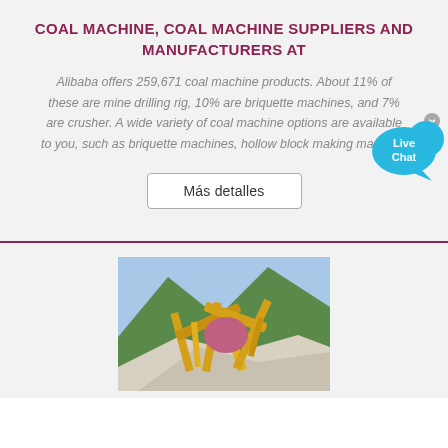COAL MACHINE, COAL MACHINE SUPPLIERS AND MANUFACTURERS AT
Alibaba offers 259,671 coal machine products. About 11% of these are mine drilling rig, 10% are briquette machines, and 7% are crusher. A wide variety of coal machine options are available to you, such as briquette machines, hollow block making machine.
[Figure (other): Live Chat widget button with speech bubble and close button]
Más detalles
[Figure (photo): Photograph of a yellow coal/mining crushing machine with conveyor belts set against a green mountain backdrop, with white crushed material piles in foreground]